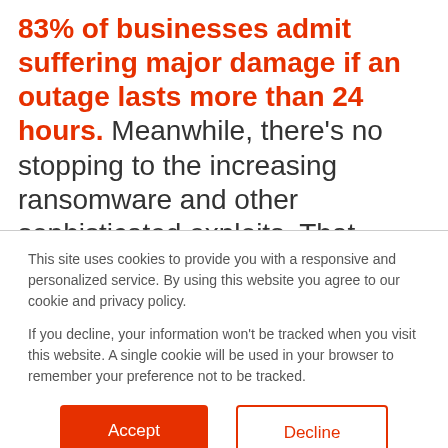83% of businesses admit suffering major damage if an outage lasts more than 24 hours. Meanwhile, there's no stopping to the increasing ransomware and other sophisticated exploits. That said, businesses are stuck in the traditional ways of managing security posture. It leaves them unprepared for imminent cyber-
This site uses cookies to provide you with a responsive and personalized service. By using this website you agree to our cookie and privacy policy.

If you decline, your information won't be tracked when you visit this website. A single cookie will be used in your browser to remember your preference not to be tracked.